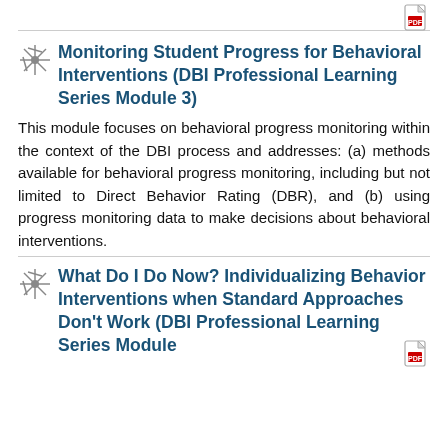[Figure (other): PDF file icon in top right corner]
Monitoring Student Progress for Behavioral Interventions (DBI Professional Learning Series Module 3)
This module focuses on behavioral progress monitoring within the context of the DBI process and addresses: (a) methods available for behavioral progress monitoring, including but not limited to Direct Behavior Rating (DBR), and (b) using progress monitoring data to make decisions about behavioral interventions.
[Figure (other): PDF file icon in right side]
What Do I Do Now? Individualizing Behavior Interventions when Standard Approaches Don't Work (DBI Professional Learning Series Module